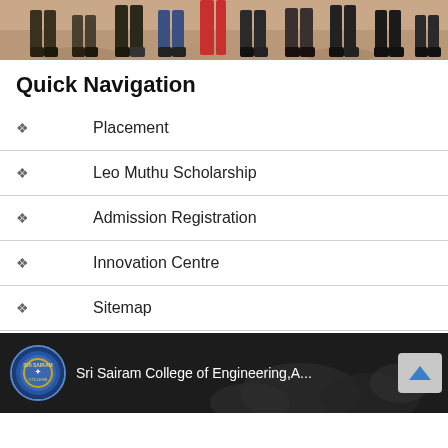[Figure (photo): Group photo showing people standing in a row outdoors, cropped to show their lower bodies and feet on a reddish brick/pavement surface.]
Quick Navigation
Placement
Leo Muthu Scholarship
Admission Registration
Innovation Centre
Sitemap
[Figure (screenshot): YouTube video thumbnail for Sri Sairam College of Engineering showing the college logo and a partially visible title 'Sri Sairam College of Engineering, A...' with a scroll-up button.]